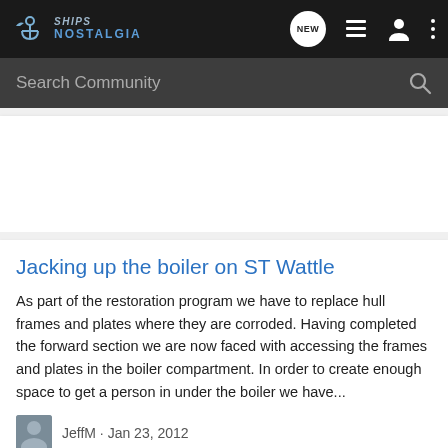SHIPS NOSTALGIA
Search Community
Jacking up the boiler on ST Wattle
As part of the restoration program we have to replace hull frames and plates where they are corroded. Having completed the forward section we are now faced with accessing the frames and plates in the boiler compartment. In order to create enough space to get a person in under the boiler we have...
JeffM · Jan 23, 2012